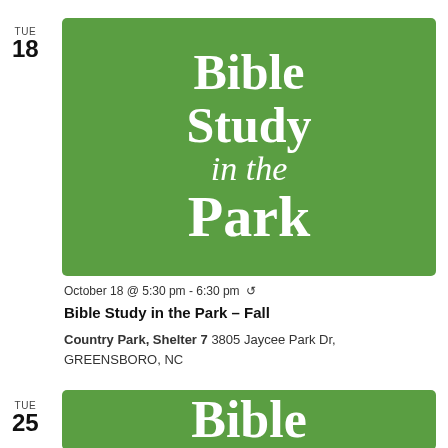[Figure (illustration): Green banner with white serif bold text reading 'Bible Study in the Park' for TUE 18 event]
October 18 @ 5:30 pm - 6:30 pm ↺
Bible Study in the Park – Fall
Country Park, Shelter 7 3805 Jaycee Park Dr, GREENSBORO, NC
[Figure (illustration): Green banner partially visible with white serif bold text 'Bible' for TUE 25 event]